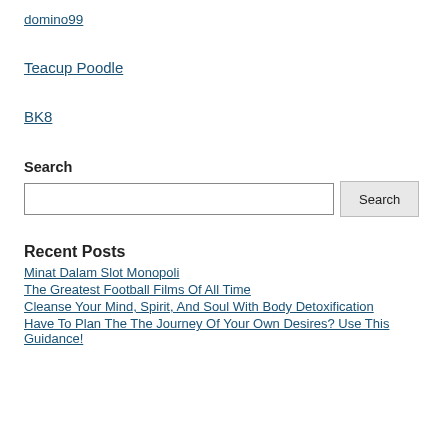domino99
Teacup Poodle
BK8
Search
[search input box and Search button]
Recent Posts
Minat Dalam Slot Monopoli
The Greatest Football Films Of All Time
Cleanse Your Mind, Spirit, And Soul With Body Detoxification
Have To Plan The The Journey Of Your Own Desires? Use This Guidance!